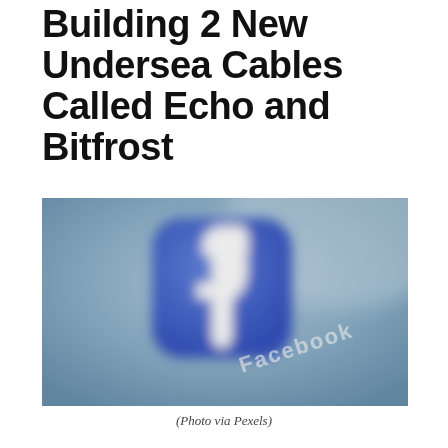Building 2 New Undersea Cables Called Echo and Bitfrost
[Figure (photo): Close-up photo of a Facebook app icon (rounded square with blue background and white 'f' logo) with 'Facebook' text visible, blurred background in light blue/grey tones]
(Photo via Pexels)